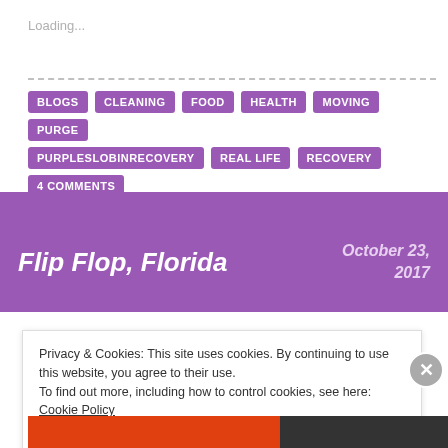Loading...
BLOGS
CLEANING
FOOD
HEALTH
MOVING
PURGE
PURPLESLOBINRECOVERY
REAL LIFE
RECOVERY
4 COMMENTS
Flip Flop, Florida
October 23, 2017
Privacy & Cookies: This site uses cookies. By continuing to use this website, you agree to their use.
To find out more, including how to control cookies, see here: Cookie Policy
Close and accept